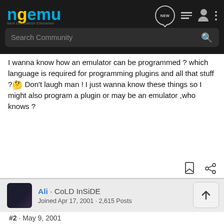ngemu - Next Generation Emulation
I wanna know how an emulator can be programmed ? which language is required for programming plugins and all that stuff ?🤔 Don't laugh man ! I just wanna know these things so I might also program a plugin or may be an emulator ,who knows ?
Ali · CoLD InSiDE
Joined Apr 17, 2001 · 2,615 Posts
#2 · May 9, 2001
Hmmmm...................
U know it is quite difficult to be an author of a plugin.U need